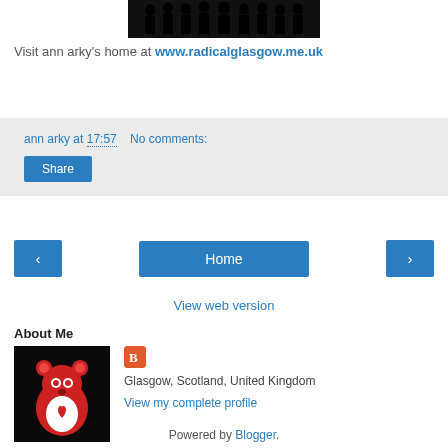[Figure (illustration): Black silhouette illustration of a group of people standing together against a white background]
Visit ann arky's home at www.radicalglasgow.me.uk
ann arky at 17:57   No comments:
Share
‹  Home  ›
View web version
About Me
[Figure (photo): Small square photo of a red cartoon bear (Care Bear style) on a black background, used as profile picture]
Glasgow, Scotland, United Kingdom
View my complete profile
Powered by Blogger.